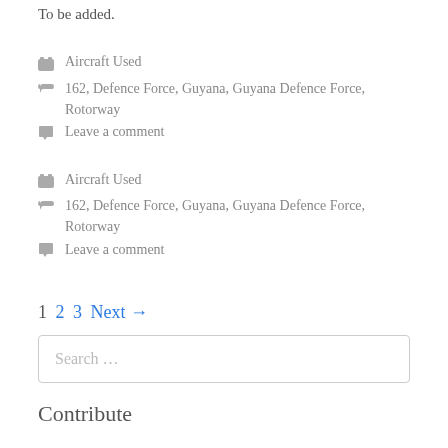To be added.
Aircraft Used
162, Defence Force, Guyana, Guyana Defence Force, Rotorway
Leave a comment
Aircraft Used
162, Defence Force, Guyana, Guyana Defence Force, Rotorway
Leave a comment
1 2 3 Next →
Search …
Contribute